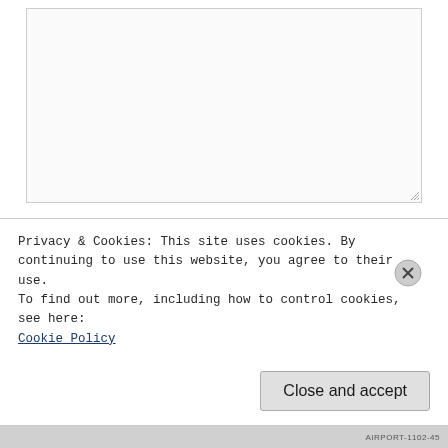[Figure (screenshot): Large empty textarea input field with resize handle in bottom-right corner]
Name *
[Figure (screenshot): Single-line text input field for Name]
Privacy & Cookies: This site uses cookies. By continuing to use this website, you agree to their use.
To find out more, including how to control cookies, see here:
Cookie Policy
Close and accept
AIRPORT-1102-45